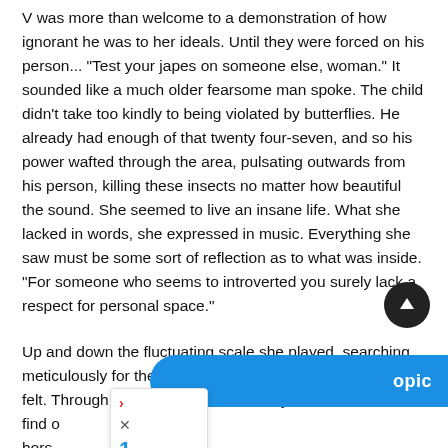V was more than welcome to a demonstration of how ignorant he was to her ideals. Until they were forced on his person... "Test your japes on someone else, woman." It sounded like a much older fearsome man spoke. The child didn't take too kindly to being violated by butterflies. He already had enough of that twenty four-seven, and so his power wafted through the area, pulsating outwards from his person, killing these insects no matter how beautiful the sound. She seemed to live an insane life. What she lacked in words, she expressed in music. Everything she saw must be some sort of reflection as to what was inside. "For someone who seems to introverted you surely lack a respect for personal space."
Up and down the fluctuating scale she played, searching meticulously for the correct melody to express how she felt. Through improvisation, she merely meant to t find o hors